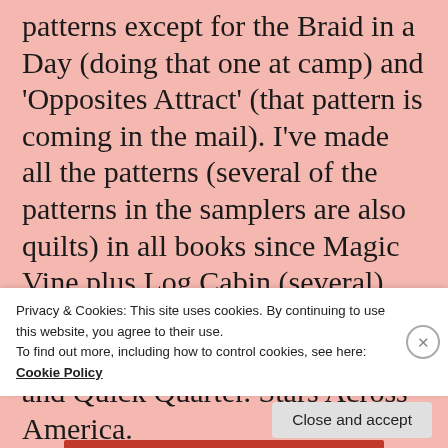patterns except for the Braid in a Day (doing that one at camp) and ‘Opposites Attract’ (that pattern is coming in the mail). I’ve made all the patterns (several of the patterns in the samplers are also quilts) in all books since Magic Vine plus Log Cabin (several), Boston Common, Jewel Box, Radiant Star, Quilt Trip (several) and Quick Quarter. Stars Across America.
Privacy & Cookies: This site uses cookies. By continuing to use this website, you agree to their use.
To find out more, including how to control cookies, see here: Cookie Policy
Close and accept